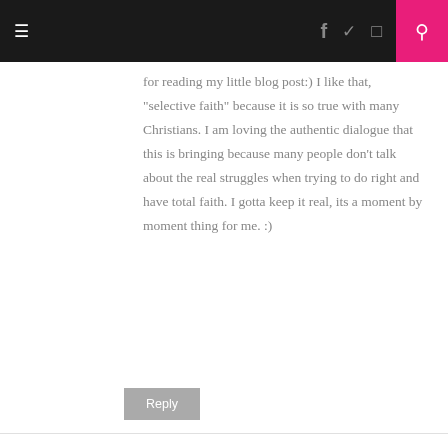≡  f  twitter  instagram  🔍
for reading my little blog post:) I like that, "selective faith" because it is so true with many Christians. I am loving the authentic dialogue that this is bringing because many people don't talk about the real struggles when trying to do right and have total faith. I gotta keep it real, its a moment by moment thing for me. :)
Reply